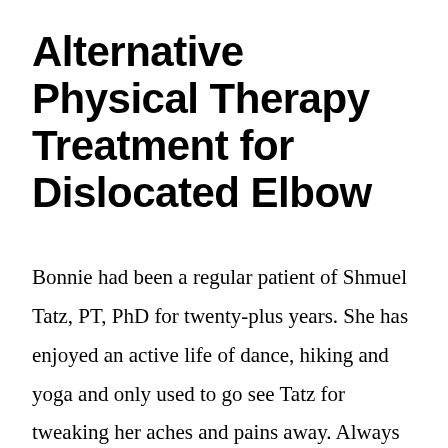Alternative Physical Therapy Treatment for Dislocated Elbow
Bonnie had been a regular patient of Shmuel Tatz, PT, PhD for twenty-plus years. She has enjoyed an active life of dance, hiking and yoga and only used to go see Tatz for tweaking her aches and pains away. Always successfully. She recommended Tatz to her